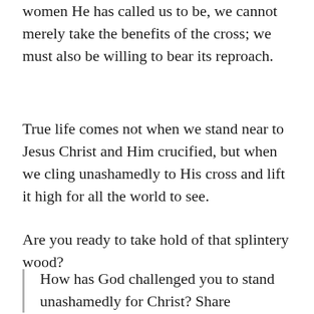women He has called us to be, we cannot merely take the benefits of the cross; we must also be willing to bear its reproach.
True life comes not when we stand near to Jesus Christ and Him crucified, but when we cling unashamedly to His cross and lift it high for all the world to see.
Are you ready to take hold of that splintery wood?
How has God challenged you to stand unashamedly for Christ? Share